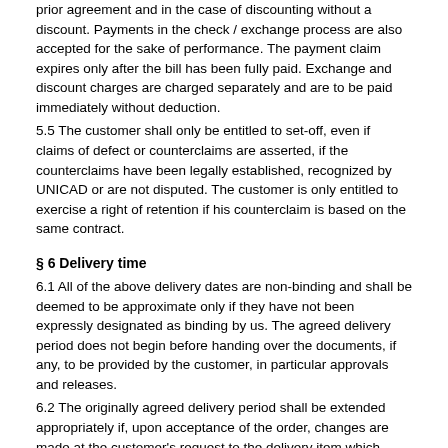prior agreement and in the case of discounting without a discount. Payments in the check / exchange process are also accepted for the sake of performance. The payment claim expires only after the bill has been fully paid. Exchange and discount charges are charged separately and are to be paid immediately without deduction.
5.5 The customer shall only be entitled to set-off, even if claims of defect or counterclaims are asserted, if the counterclaims have been legally established, recognized by UNICAD or are not disputed. The customer is only entitled to exercise a right of retention if his counterclaim is based on the same contract.
§ 6 Delivery time
6.1 All of the above delivery dates are non-binding and shall be deemed to be approximate only if they have not been expressly designated as binding by us. The agreed delivery period does not begin before handing over the documents, if any, to be provided by the customer, in particular approvals and releases.
6.2 The originally agreed delivery period shall be extended appropriately if, upon acceptance of the order, changes are made at the customer's request to the delivery item which